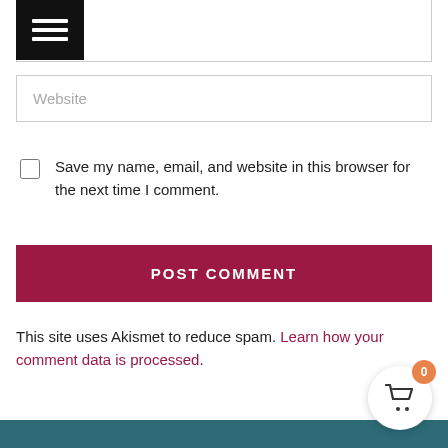[Figure (screenshot): Black menu icon with three white horizontal lines]
Website
Save my name, email, and website in this browser for the next time I comment.
POST COMMENT
This site uses Akismet to reduce spam. Learn how your comment data is processed.
[Figure (screenshot): Shopping cart icon with badge showing 0, in a white circle over a teal footer bar]